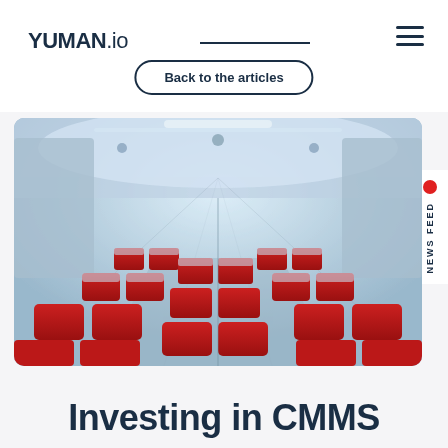YUMAN.io
Back to the articles
[Figure (photo): Interior of an airplane cabin with red seats arranged in rows, viewed from the back looking toward the front, with blue overhead lighting.]
NEWS FEED
Investing in CMMS